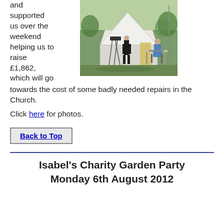and supported us over the weekend helping us to raise £1,862, which will go towards the cost of some badly needed repairs in the Church.
[Figure (photo): Outdoor scene with a large white tent/marquee, a person standing in black clothing near audio/PA equipment, and another person seated at a table in a blue shirt, on a grassy area with trees in the background.]
Click here for photos.
Back to Top
Isabel's Charity Garden Party Monday 6th August 2012